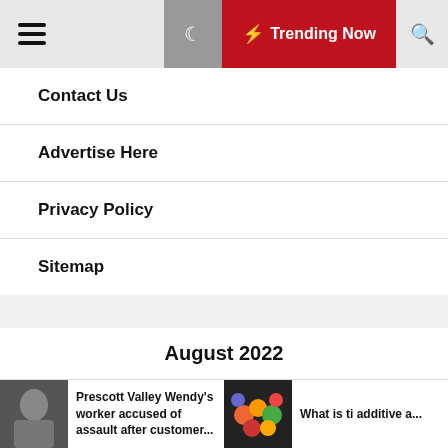Trending Now
Contact Us
Advertise Here
Privacy Policy
Sitemap
| M | T | W | T | F | S | S |
| --- | --- | --- | --- | --- | --- | --- |
| 1 | 2 | 3 | 4 | 5 | 6 | 7 |
| 8 | 9 | 10 | 11 | 12 | 13 | 14 |
Prescott Valley Wendy's worker accused of assault after customer...
What is ti additive a...